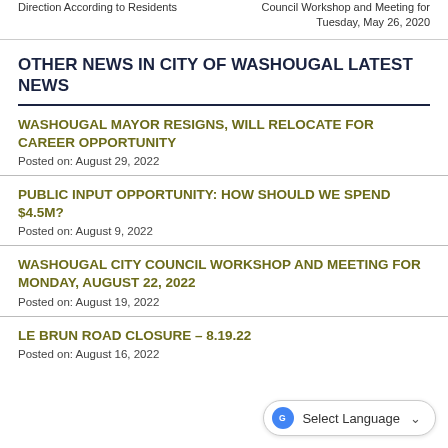Direction According to Residents | Council Workshop and Meeting for Tuesday, May 26, 2020
OTHER NEWS IN CITY OF WASHOUGAL LATEST NEWS
WASHOUGAL MAYOR RESIGNS, WILL RELOCATE FOR CAREER OPPORTUNITY
Posted on: August 29, 2022
PUBLIC INPUT OPPORTUNITY: HOW SHOULD WE SPEND $4.5M?
Posted on: August 9, 2022
WASHOUGAL CITY COUNCIL WORKSHOP AND MEETING FOR MONDAY, AUGUST 22, 2022
Posted on: August 19, 2022
LE BRUN ROAD CLOSURE – 8.19.22
Posted on: August 16, 2022